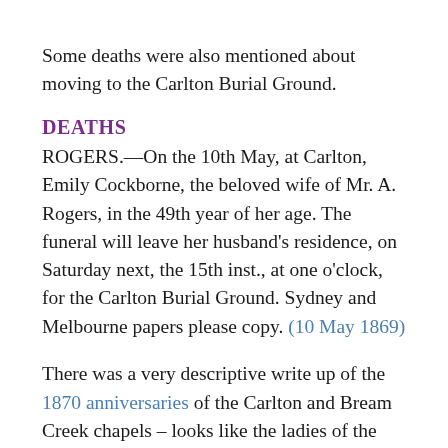Some deaths were also mentioned about moving to the Carlton Burial Ground.
DEATHS
ROGERS.—On the 10th May, at Carlton, Emily Cockborne, the beloved wife of Mr. A. Rogers, in the 49th year of her age. The funeral will leave her husband's residence, on Saturday next, the 15th inst., at one o'clock, for the Carlton Burial Ground. Sydney and Melbourne papers please copy. (10 May 1869)
There was a very descriptive write up of the 1870 anniversaries of the Carlton and Bream Creek chapels – looks like the ladies of the area were rivals in who could make the best spread for the visitors to their district. Also mentioned